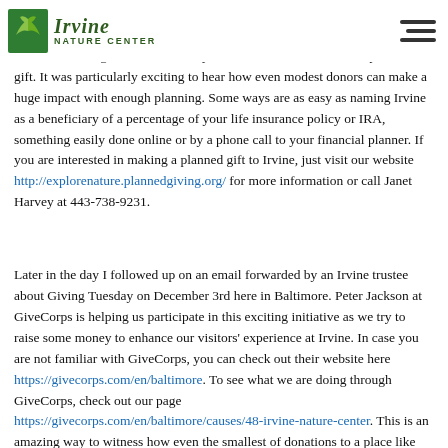[Figure (logo): Irvine Nature Center logo with green leaf icon and text]
We ended the day with planned giving expert Paula Einaudi who has just retired from Forest School as their Director of Development. She graciously walked us through the different ways in which we can structure a planned gift. It was particularly exciting to hear how even modest donors can make a huge impact with enough planning. Some ways are as easy as naming Irvine as a beneficiary of a percentage of your life insurance policy or IRA, something easily done online or by a phone call to your financial planner. If you are interested in making a planned gift to Irvine, just visit our website http://explorenature.plannedgiving.org/ for more information or call Janet Harvey at 443-738-9231.
Later in the day I followed up on an email forwarded by an Irvine trustee about Giving Tuesday on December 3rd here in Baltimore. Peter Jackson at GiveCorps is helping us participate in this exciting initiative as we try to raise some money to enhance our visitors' experience at Irvine. In case you are not familiar with GiveCorps, you can check out their website here https://givecorps.com/en/baltimore. To see what we are doing through GiveCorps, check out our page https://givecorps.com/en/baltimore/causes/48-irvine-nature-center. This is an amazing way to witness how even the smallest of donations to a place like Irvine can accumulate and make a big difference.
So whether you are a retiree wanting to leave a lasting legacy or a millenial wanting to dip your toe in the philanthropic waters, there are a multitude of great ways to give and see the impact of your generosity. Thanks in